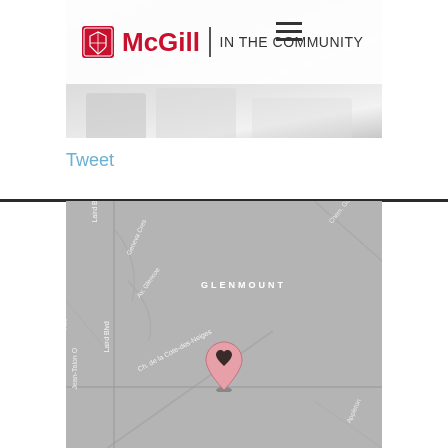[Figure (screenshot): McGill In The Community website header with logo, navigation, and blurred background photo of chairs]
Tweet
[Figure (map): Grey map showing Glenmount area with streets including Laird Blvd, Geneva Cres, Av. Glencoe, Ch. de la Cote-des-Neiges, Jean-Talon O, Chemin Gov., Appleton, with a pink heart location pin marker]